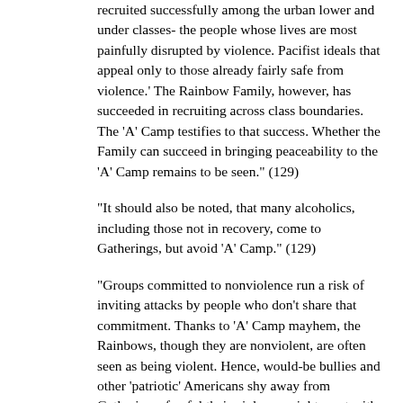recruited successfully among the urban lower and under classes- the people whose lives are most painfully disrupted by violence. Pacifist ideals that appeal only to those already fairly safe from violence.' The Rainbow Family, however, has succeeded in recruiting across class boundaries. The 'A' Camp testifies to that success. Whether the Family can succeed in bringing peaceability to the 'A' Camp remains to be seen." (129)
"It should also be noted, that many alcoholics, including those not in recovery, come to Gatherings, but avoid 'A' Camp." (129)
"Groups committed to nonviolence run a risk of inviting attacks by people who don't share that commitment. Thanks to 'A' Camp mayhem, the Rainbows, though they are nonviolent, are often seen as being violent. Hence, would-be bullies and other 'patriotic' Americans shy away from Gatherings, fearful their violence might meet with resistance. Those who do plan on disrupting Gatherings, usually never get past 'A' Camp. Peacability exists behind a real and imagined shroud of violence." (129)
"On rare occasions when violence threatens to spill